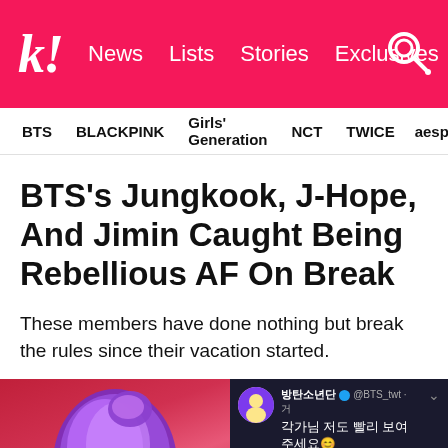k! News Lists Stories Exclusives
BTS BLACKPINK Girls' Generation NCT TWICE aespa
BTS's Jungkook, J-Hope, And Jimin Caught Being Rebellious AF On Break
These members have done nothing but break the rules since their vacation started.
[Figure (photo): Person with purple/lavender hair on red background]
[Figure (screenshot): BTS Twitter/X post in Korean: 방탄소년단 @BTS_twt - 각가님 저도 빨리 보여주세요 #JIMIN with an image attachment, dark background]